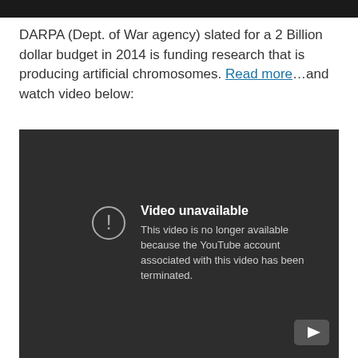DARPA (Dept. of War agency) slated for a 2 Billion dollar budget in 2014 is funding research that is producing artificial chromosomes. Read more…and watch video below:
[Figure (screenshot): Embedded YouTube video player showing 'Video unavailable' error message. Text reads: 'This video is no longer available because the YouTube account associated with this video has been terminated.' YouTube logo visible in bottom right corner.]